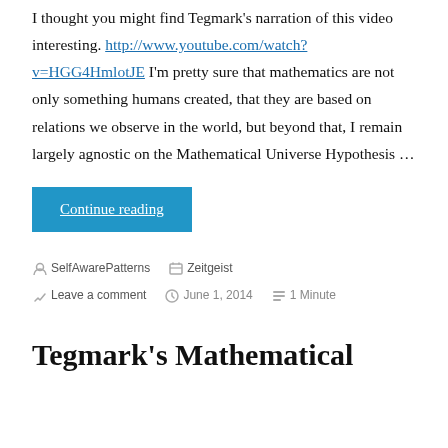I thought you might find Tegmark's narration of this video interesting. http://www.youtube.com/watch?v=HGG4HmlotJE I'm pretty sure that mathematics are not only something humans created, that they are based on relations we observe in the world, but beyond that, I remain largely agnostic on the Mathematical Universe Hypothesis …
Continue reading
SelfAwarePatterns | Zeitgeist | Leave a comment | June 1, 2014 | 1 Minute
Tegmark's Mathematical